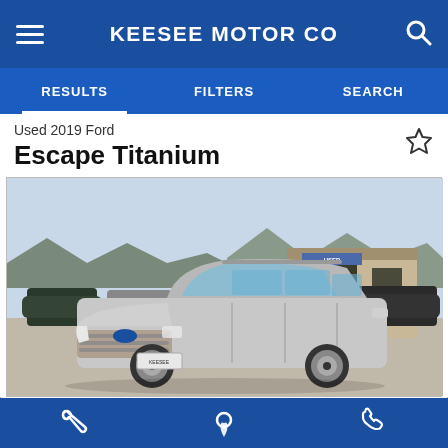KEESEE MOTOR CO
RESULTS   FILTERS   SEARCH
Used 2019 Ford
Escape Titanium
[Figure (photo): Silver 2019 Ford Escape Titanium SUV parked at a dealership lot. Other vehicles and a dealership building with mountains in the background. License plate reads 'Keesee'.]
(970) 565-8431
[Figure (logo): Keesee Motor Co dealer badge with Ford logo on left and building icon on right, metallic appearance]
Service icon | Location icon | Phone icon